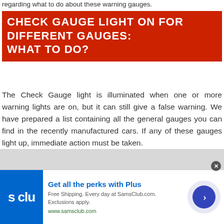regarding what to do about these warning gauges.
CHECK GAUGE LIGHT ON FOR DIFFERENT GAUGES: WHAT TO DO?
The Check Gauge light is illuminated when one or more warning lights are on, but it can still give a false warning. We have prepared a list containing all the general gauges you can find in the recently manufactured cars. If any of these gauges light up, immediate action must be taken.
[Figure (screenshot): Advertisement banner for Sam's Club Plus membership: logo on left with 's clu' text, headline 'Get all the perks with Plus', subtext about free shipping at SamsClub.com with exclusions, URL www.samsclub.com, and a blue arrow button on right side.]